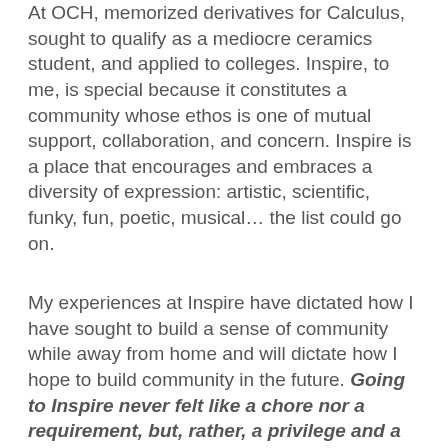At OCH, memorized derivatives for Calculus, sought to qualify as a mediocre ceramics student, and applied to colleges. Inspire, to me, is special because it constitutes a community whose ethos is one of mutual support, collaboration, and concern. Inspire is a place that encourages and embraces a diversity of expression: artistic, scientific, funky, fun, poetic, musical… the list could go on.
My experiences at Inspire have dictated how I have sought to build a sense of community while away from home and will dictate how I hope to build community in the future. Going to Inspire never felt like a chore nor a requirement, but, rather, a privilege and a joy.